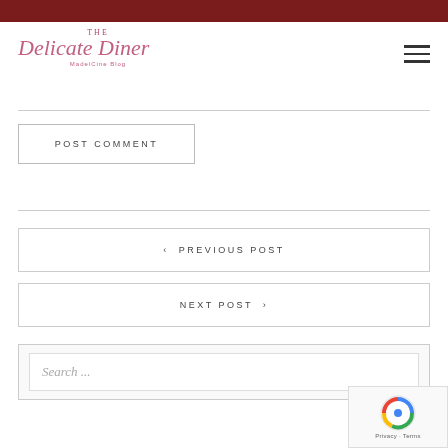[Figure (logo): The Delicate Diner logo with cursive script]
POST COMMENT
‹ PREVIOUS POST
NEXT POST ›
Search ...